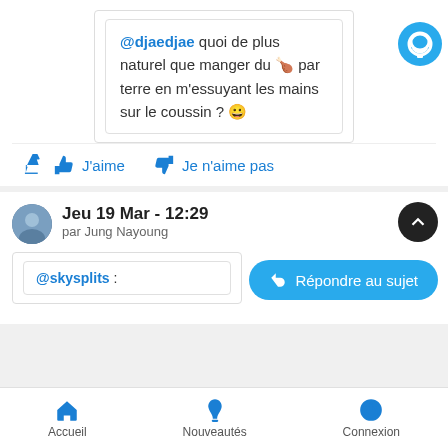@djaedjae quoi de plus naturel que manger du 🍗 par terre en m'essuyant les mains sur le coussin ? 😀
J'aime  Je n'aime pas
Jeu 19 Mar - 12:29
par Jung Nayoung
Répondre au sujet
@skysplits :
Accueil  Nouveautés  Connexion